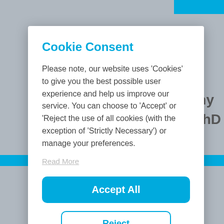Cookie Consent
Please note, our website uses 'Cookies' to give you the best possible user experience and help us improve our service. You can choose to 'Accept' or 'Reject the use of all cookies (with the exception of 'Strictly Necessary') or manage your preferences.
Read More
Accept All
Reject
Sign-Up Now